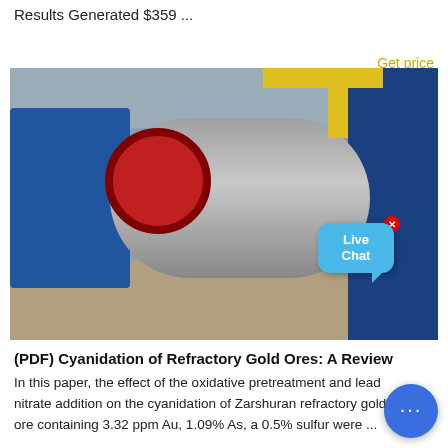Results Generated $359 ...
Get price
[Figure (photo): Industrial ball mill machine in a mining facility. Large cylindrical steel drum with blue machinery housing, red wheel on the left side, yellow structural elements in the background. Live Chat bubble overlay visible in the top-right area of the image.]
(PDF) Cyanidation of Refractory Gold Ores: A Review
In this paper, the effect of the oxidative pretreatment and lead nitrate addition on the cyanidation of Zarshuran refractory gold ore containing 3.32 ppm Au, 1.09% As, a 0.5% sulfur were ...